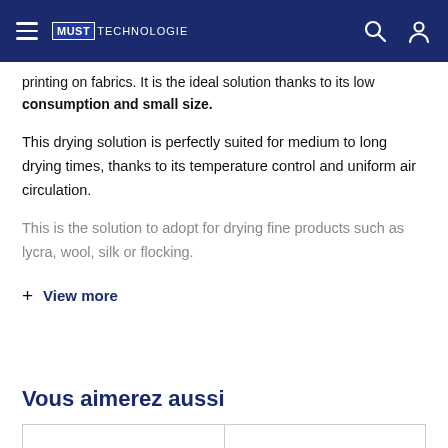MUST TECHNOLOGIE
printing on fabrics. It is the ideal solution thanks to its low consumption and small size.
This drying solution is perfectly suited for medium to long drying times, thanks to its temperature control and uniform air circulation.
This is the solution to adopt for drying fine products such as lycra, wool, silk or flocking.
+ View more
Vous aimerez aussi